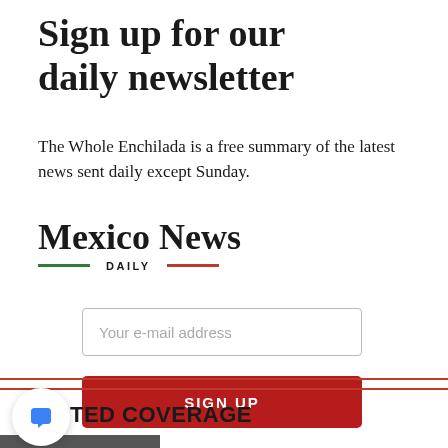Sign up for our daily newsletter
The Whole Enchilada is a free summary of the latest news sent daily except Sunday.
[Figure (logo): Mexico News Daily logo with green and red horizontal lines flanking the word DAILY]
Your e-mail address
SIGN UP
TED COVERAGE